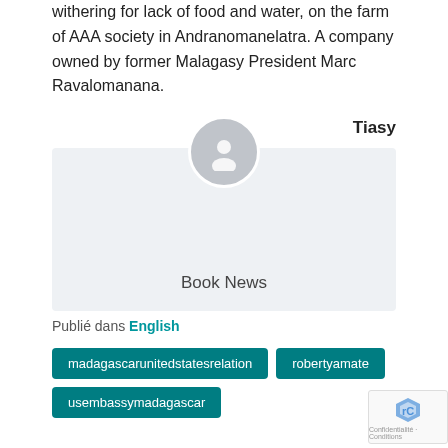withering for lack of food and water, on the farm of AAA society in Andranomanelatra. A company owned by former Malagasy President Marc Ravalomanana.
Tiasy
[Figure (illustration): Author avatar card with a generic grey silhouette icon and the label 'Book News' below it on a light grey background.]
Publié dans English
madagascarunitedstatesrelation
robertyamate
usembassymadagascar